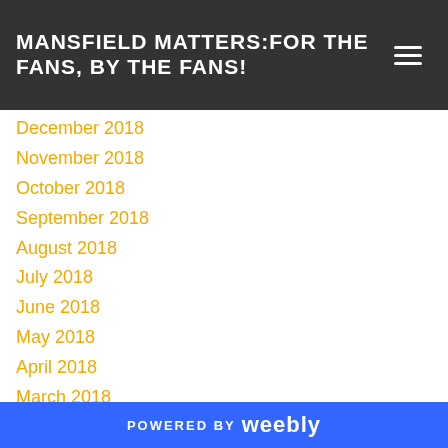MANSFIELD MATTERS:FOR THE FANS, BY THE FANS!
December 2018
November 2018
October 2018
September 2018
August 2018
July 2018
June 2018
May 2018
April 2018
March 2018
February 2018
January 2018
December 2017
November 2017
October 2017
POWERED BY weebly